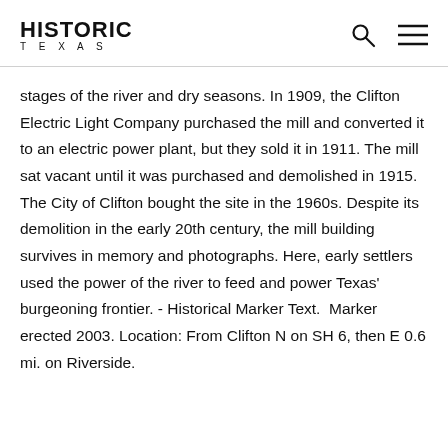HISTORIC TEXAS
stages of the river and dry seasons. In 1909, the Clifton Electric Light Company purchased the mill and converted it to an electric power plant, but they sold it in 1911. The mill sat vacant until it was purchased and demolished in 1915. The City of Clifton bought the site in the 1960s. Despite its demolition in the early 20th century, the mill building survives in memory and photographs. Here, early settlers used the power of the river to feed and power Texas' burgeoning frontier. - Historical Marker Text.  Marker erected 2003. Location: From Clifton N on SH 6, then E 0.6 mi. on Riverside.